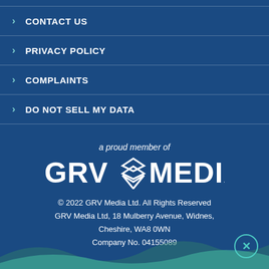CONTACT US
PRIVACY POLICY
COMPLAINTS
DO NOT SELL MY DATA
a proud member of
[Figure (logo): GRV Media logo with stacked diamond/chevron icon between GRV and MEDIA text]
© 2022 GRV Media Ltd. All Rights Reserved
GRV Media Ltd, 18 Mulberry Avenue, Widnes,
Cheshire, WA8 0WN
Company No. 04155089